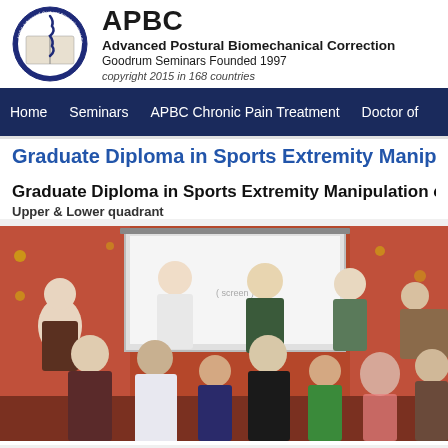[Figure (logo): APBC circular logo with spine and book imagery, dark blue border with text 'APBC Advanced Postural Biomechanical Correction']
APBC
Advanced Postural Biomechanical Correction
Goodrum Seminars Founded 1997
copyright 2015 in 168 countries
Home    Seminars    APBC Chronic Pain Treatment    Doctor of
Graduate Diploma in Sports Extremity Manipulati...
Graduate Diploma in Sports Extremity Manipulation c
Upper & Lower quadrant
[Figure (photo): Group photo of seminar participants, approximately 12 people smiling at camera in front of a projection screen, with patterned wallpaper in background]